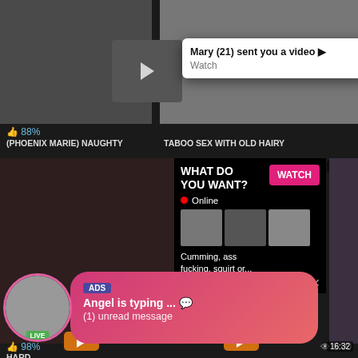[Figure (screenshot): Adult video website screenshot showing video thumbnails, notification popup, and chat advertisement overlay]
Mary (21) sent you a video ▶
Watch
88%
(PHOENIX MARIE) NAUGHTY
TABOO SEX WITH OLD HAIRY
WHAT DO YOU WANT?
WATCH
Online
Cumming, ass fucking, squirt or...
• ADS
98%
8:00
HARD
16:32
ADS
Angel is typing ... 💬
(1) unread message
LIVE
16:32